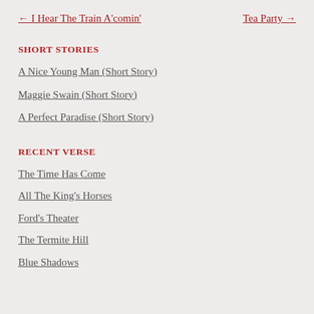← I Hear The Train A'comin'    Tea Party →
SHORT STORIES
A Nice Young Man (Short Story)
Maggie Swain (Short Story)
A Perfect Paradise (Short Story)
RECENT VERSE
The Time Has Come
All The King's Horses
Ford's Theater
The Termite Hill
Blue Shadows